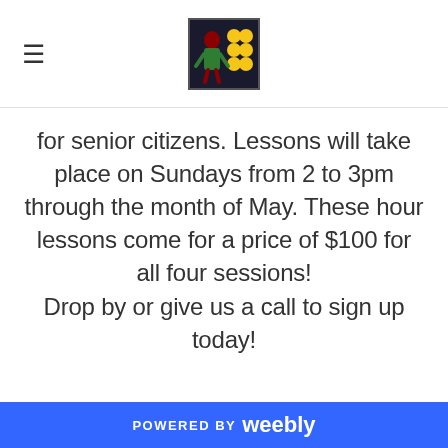≡ [logo]
for senior citizens. Lessons will take place on Sundays from 2 to 3pm through the month of May. These hour lessons come for a price of $100 for all four sessions! Drop by or give us a call to sign up today!
Welcome to Our Online
POWERED BY weebly